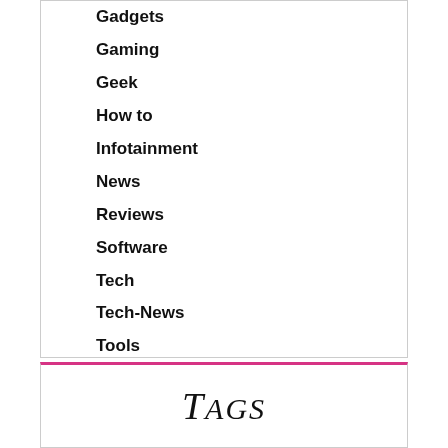Gadgets
Gaming
Geek
How to
Infotainment
News
Reviews
Software
Tech
Tech-News
Tools
Trending
Uncategorized
Tags